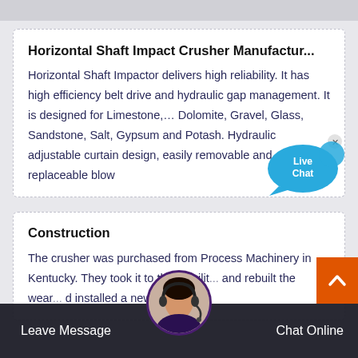Horizontal Shaft Impact Crusher Manufactur...
Horizontal Shaft Impactor delivers high reliability. It has high efficiency belt drive and hydraulic gap management. It is designed for Limestone,... Dolomite, Gravel, Glass, Sandstone, Salt, Gypsum and Potash. Hydraulic adjustable curtain design, easily removable and replaceable blow
[Figure (illustration): Live Chat speech bubble icon with 'Live Chat' text inside, blue color, with an X close button]
Construction
The crusher was purchased from Process Machinery in Kentucky. They took it to their facilit... and rebuilt the wear ... d installed a new 1... ... vertic... or. We w...
[Figure (illustration): Chat agent avatar circle with headset, overlaid on bottom bar]
Leave Message    Chat Online